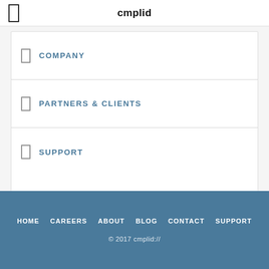cmplid
COMPANY
PARTNERS & CLIENTS
SUPPORT
HOME  CAREERS  ABOUT  BLOG  CONTACT  SUPPORT
© 2017 cmplid://